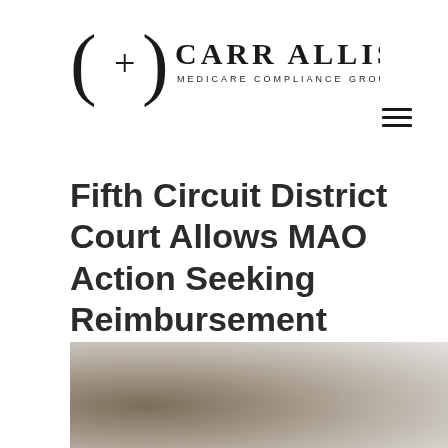[Figure (logo): Carr Allison Medicare Compliance Group logo with stylized bracket and cross symbol]
Fifth Circuit District Court Allows MAO Action Seeking Reimbursement from Tort Settlement Fund to Go
[Figure (photo): Partial blurred photo at bottom of page, appears to show a person or object, mostly out of frame]